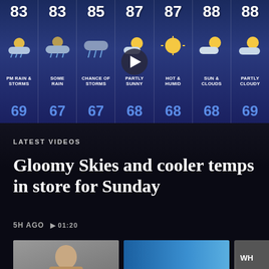[Figure (screenshot): 7-day weather forecast strip showing high temperatures (83, 83, 85, 87, 87, 88, 88) with weather icons (PM Rain & Storms, Some Rain, Chance of Storms, Partly Sunny, Hot & Humid, Sun & Clouds, Partly Cloudy) and low temperatures (69, 67, 67, 68, 68, 68, 69) on a blue gradient background. A video play button overlay appears on the 4th (Partly Sunny) column.]
LATEST VIDEOS
Gloomy Skies and cooler temps in store for Sunday
5H AGO  ▶ 01:20
[Figure (screenshot): Three video thumbnails: first shows a person (news anchor), second shows a blue graphic, third is partially visible with 'WH' text.]